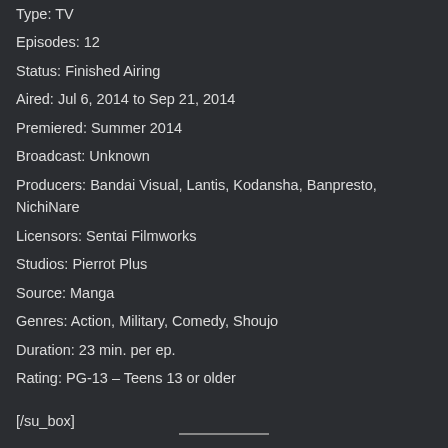Type: TV
Episodes: 12
Status: Finished Airing
Aired: Jul 6, 2014 to Sep 21, 2014
Premiered: Summer 2014
Broadcast: Unknown
Producers: Bandai Visual, Lantis, Kodansha, Banpresto, NichiNare
Licensors: Sentai Filmworks
Studios: Pierrot Plus
Source: Manga
Genres: Action, Military, Comedy, Shoujo
Duration: 23 min. per ep.
Rating: PG-13 – Teens 13 or older
[/su_box]